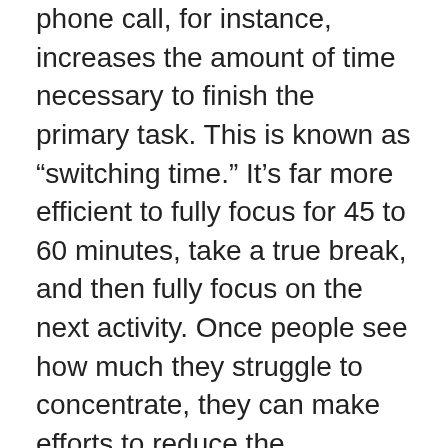phone call, for instance, increases the amount of time necessary to finish the primary task. This is known as “switching time.” It’s far more efficient to fully focus for 45 to 60 minutes, take a true break, and then fully focus on the next activity. Once people see how much they struggle to concentrate, they can make efforts to reduce the relentless interruptions that technology has introduced in their lives and focus on working more effectively rather than just putting in more hours at the office.
What are your tried and tested tips for managing your energy and avoiding burn